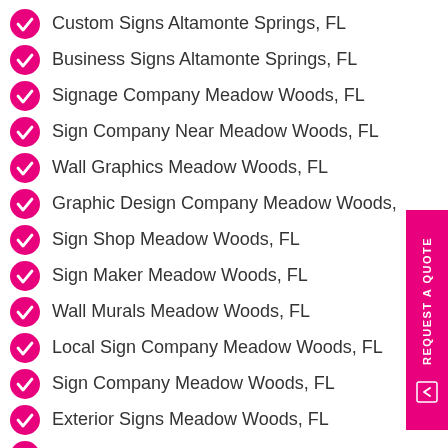Custom Signs Altamonte Springs, FL
Business Signs Altamonte Springs, FL
Signage Company Meadow Woods, FL
Sign Company Near Meadow Woods, FL
Wall Graphics Meadow Woods, FL
Graphic Design Company Meadow Woods,
Sign Shop Meadow Woods, FL
Sign Maker Meadow Woods, FL
Wall Murals Meadow Woods, FL
Local Sign Company Meadow Woods, FL
Sign Company Meadow Woods, FL
Exterior Signs Meadow Woods, FL
Vehicle Wraps Meadow Woods, FL
Post & Panel Signs Meadow Woods, FL
Vinyl Signs Meadow Woods, FL
Interior Signs Meadow Woods, FL
Custom Signs Meadow Woods, FL